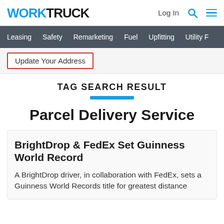WORKTRUCK — Log In [search] [menu]
Leasing  Safety  Remarketing  Fuel  Upfitting  Utility F
Update Your Address
TAG SEARCH RESULT
Parcel Delivery Service
BrightDrop & FedEx Set Guinness World Record
A BrightDrop driver, in collaboration with FedEx, sets a Guinness World Records title for greatest distance